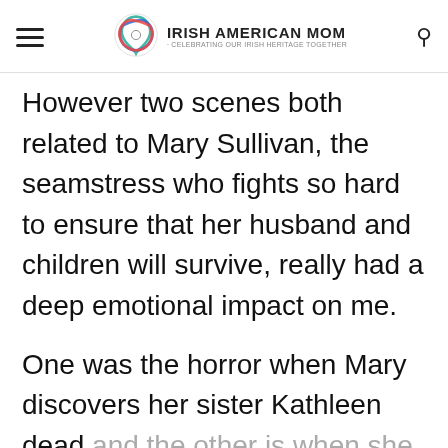Irish American Mom - Celebrating Our Irish Heritage Together
However two scenes both related to Mary Sullivan, the seamstress who fights so hard to ensure that her husband and children will survive, really had a deep emotional impact on me.
One was the horror when Mary discovers her sister Kathleen dead and the other is when she and her